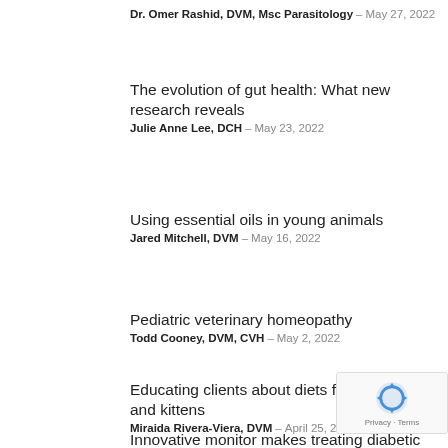Dr. Omer Rashid, DVM, Msc Parasitology – May 27, 2022
The evolution of gut health: What new research reveals
Julie Anne Lee, DCH – May 23, 2022
Using essential oils in young animals
Jared Mitchell, DVM – May 16, 2022
Pediatric veterinary homeopathy
Todd Cooney, DVM, CVH – May 2, 2022
Educating clients about diets for puppies and kittens
Miraida Rivera-Viera, DVM – April 25, 2022
Innovative monitor makes treating diabetic